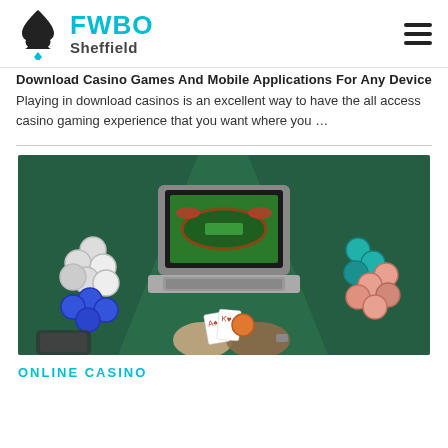FWBO Sheffield
Download Casino Games And Mobile Applications For Any Device Playing in download casinos is an excellent way to have the all access casino gaming experience that you want where you ...
[Figure (photo): Overhead view of a laptop showing an online casino table game, surrounded by poker chips (white, blue, teal, pink) on a green felt surface, with two hands holding playing cards in the foreground and a smartphone visible at the bottom left.]
ONLINE CASINO